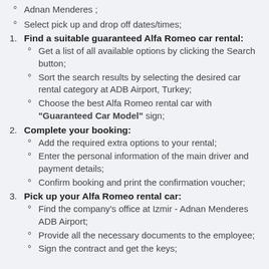Adnan Menderes; Select pick up and drop off dates/times;
Find a suitable guaranteed Alfa Romeo car rental: Get a list of all available options by clicking the Search button; Sort the search results by selecting the desired car rental category at ADB Airport, Turkey; Choose the best Alfa Romeo rental car with "Guaranteed Car Model" sign;
Complete your booking: Add the required extra options to your rental; Enter the personal information of the main driver and payment details; Confirm booking and print the confirmation voucher;
Pick up your Alfa Romeo rental car: Find the company's office at Izmir - Adnan Menderes ADB Airport; Provide all the necessary documents to the employee; Sign the contract and get the keys;